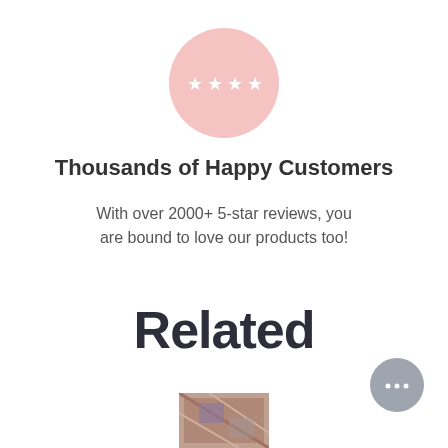[Figure (illustration): Pink circle with four white star symbols arranged horizontally in the center]
Thousands of Happy Customers
With over 2000+ 5-star reviews, you are bound to love our products too!
Related
[Figure (illustration): Grey circular chat/messenger button with three dots (ellipsis) in the center, positioned at bottom right]
[Figure (photo): Partial product thumbnail image at bottom center showing a patterned textile or accessory item]